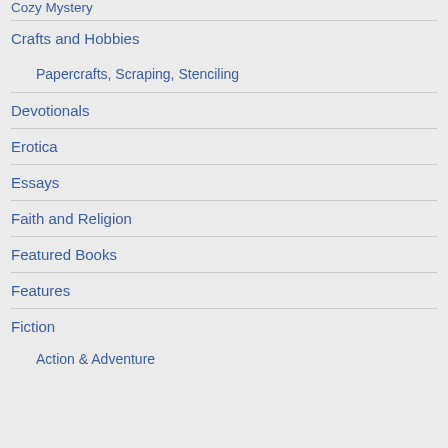Cozy Mystery
Crafts and Hobbies
Papercrafts, Scraping, Stenciling
Devotionals
Erotica
Essays
Faith and Religion
Featured Books
Features
Fiction
Action & Adventure